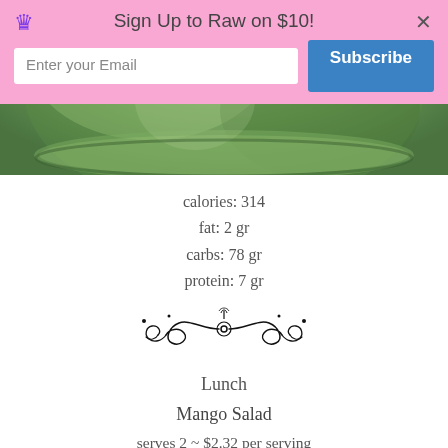[Figure (photo): Green smoothie or beverage in a glass, close-up photo, top portion of page]
calories: 314
fat: 2 gr
carbs: 78 gr
protein: 7 gr
[Figure (illustration): Decorative black floral/scroll divider ornament]
Lunch
Mango Salad
serves 2 ~ $2.32 per serving
1 mango, diced ($.98)
1 avocado, diced ($.88)
Sign Up to Raw on $10!